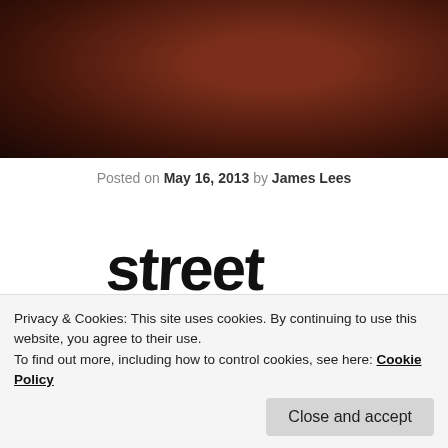[Figure (photo): Dark reddish-brown food photo at top of page, appears to be cooked meat]
Posted on May 16, 2013 by James Lees
[Figure (logo): Street Food Cartel logo with 'ALL SOLD OUT' text overlaid in red, black distressed lettering]
Privacy & Cookies: This site uses cookies. By continuing to use this website, you agree to their use. To find out more, including how to control cookies, see here: Cookie Policy
It feels like only last week that we were posting our